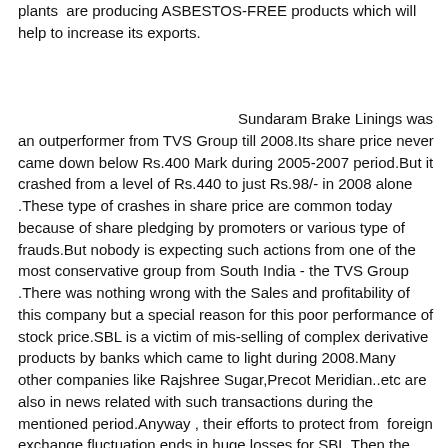plants  are producing ASBESTOS-FREE products which will help to increase its exports.
Sundaram Brake Linings was an outperformer from TVS Group till 2008.Its share price never came down below Rs.400 Mark during 2005-2007 period.But it crashed from a level of Rs.440 to just Rs.98/- in 2008 alone .These type of crashes in share price are common today because of share pledging by promoters or various type of frauds.But nobody is expecting such actions from one of the most conservative group from South India - the TVS Group .There was nothing wrong with the Sales and profitability of this company but a special reason for this poor performance of stock price.SBL is a victim of mis-selling of complex derivative products by banks which came to light during 2008.Many other companies like Rajshree Sugar,Precot Meridian..etc are also in news related with such transactions during the mentioned period.Anyway , their efforts to protect from  foreign exchange fluctuation ends in huge losses for SBL.Then the company filed cases against these banks and at last it ends in an out of court settlement.As per the terms company is liable to pay only